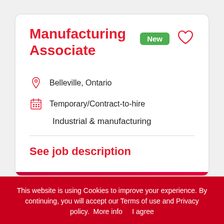Manufacturing Associate
New
Belleville, Ontario
Temporary/Contract-to-hire
Industrial & manufacturing
See job description
This website is using Cookies to improve your experience. By continuing, you will accept our Terms of use and Privacy policy. More info    I agree